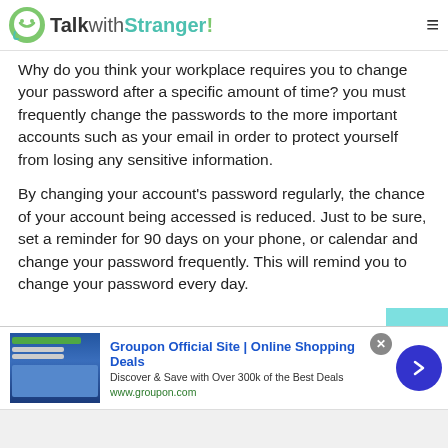TalkwithStranger!
Why do you think your workplace requires you to change your password after a specific amount of time? you must frequently change the passwords to the more important accounts such as your email in order to protect yourself from losing any sensitive information.
By changing your account's password regularly, the chance of your account being accessed is reduced. Just to be sure, set a reminder for 90 days on your phone, or calendar and change your password frequently. This will remind you to change your password every day.
[Figure (screenshot): Groupon advertisement banner with logo image, title 'Groupon Official Site | Online Shopping Deals', subtitle 'Discover & Save with Over 300k of the Best Deals', URL 'www.groupon.com', close button, and arrow navigation button]